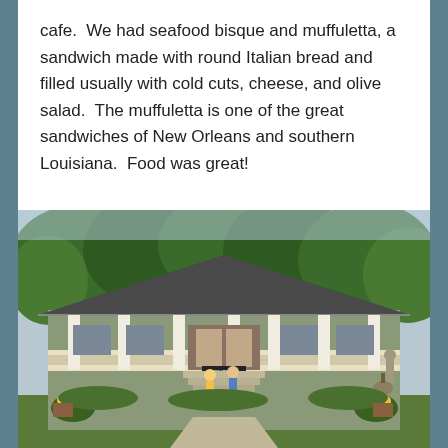cafe.  We had seafood bisque and muffuletta, a sandwich made with round Italian bread and filled usually with cold cuts, cheese, and olive salad.  The muffuletta is one of the great sandwiches of New Orleans and southern Louisiana.  Food was great!
[Figure (photo): Exterior photo of a Southern-style cafe with a covered front porch supported by white columns, gray/green siding, dark shingled hip roof, surrounded by trees. Two people are walking up the front steps toward the entrance. Colorful flowers and plants line the front of the building. A statue and a bell are visible on the right side.]